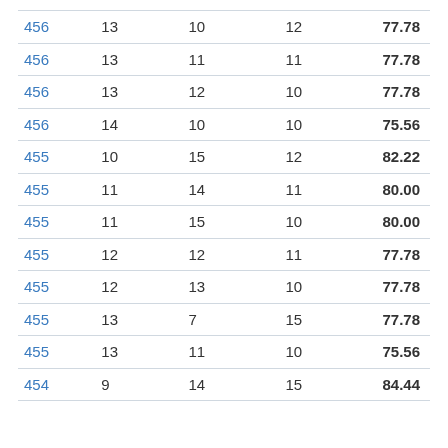| 456 | 13 | 10 | 12 | 77.78 |
| 456 | 13 | 11 | 11 | 77.78 |
| 456 | 13 | 12 | 10 | 77.78 |
| 456 | 14 | 10 | 10 | 75.56 |
| 455 | 10 | 15 | 12 | 82.22 |
| 455 | 11 | 14 | 11 | 80.00 |
| 455 | 11 | 15 | 10 | 80.00 |
| 455 | 12 | 12 | 11 | 77.78 |
| 455 | 12 | 13 | 10 | 77.78 |
| 455 | 13 | 7 | 15 | 77.78 |
| 455 | 13 | 11 | 10 | 75.56 |
| 454 | 9 | 14 | 15 | 84.44 |